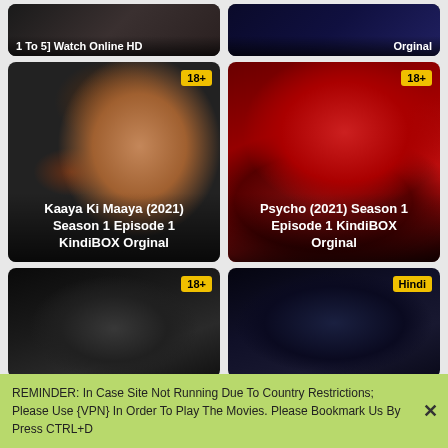[Figure (screenshot): Movie card top-left with title '1 To 5] Watch Online HD' on dark background]
[Figure (screenshot): Movie card top-right with text 'Orginal' and zoo logo watermark on dark background]
[Figure (photo): Kaaya Ki Maaya (2021) Season 1 Episode 1 KindiBOX Orginal - woman's face on dark horror background with 18+ badge]
[Figure (photo): Psycho (2021) Season 1 Episode 1 KindiBOX Orginal - couple in red light with 18+ badge]
[Figure (photo): Bottom-left card, dark thriller with 18+ badge]
[Figure (photo): Bottom-right card, dark face close-up with Hindi badge]
REMINDER: In Case Site Not Running Due To Country Restrictions; Please Use {VPN} In Order To Play The Movies. Please Bookmark Us By Press CTRL+D